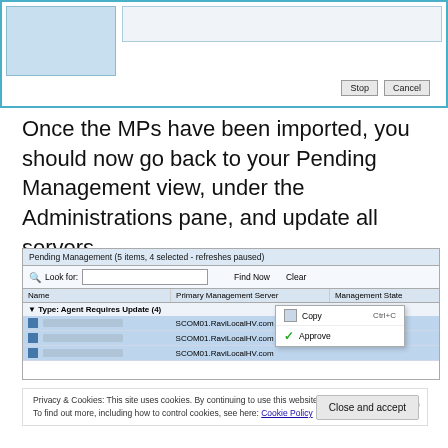[Figure (screenshot): Dialog box with Stop and Cancel buttons, partially visible with a blue highlighted region at top left]
Once the MPs have been imported, you should now go back to your Pending Management view, under the Administrations pane, and update all servers.
[Figure (screenshot): Pending Management window showing 5 items with 4 selected, Type: Agent Requires Update (4), with rows showing SCOM01.RaviLocalHV.com entries, a right-click context menu with Copy (Ctrl+C) and Approve options]
Privacy & Cookies: This site uses cookies. By continuing to use this website, you agree to their use.
To find out more, including how to control cookies, see here: Cookie Policy